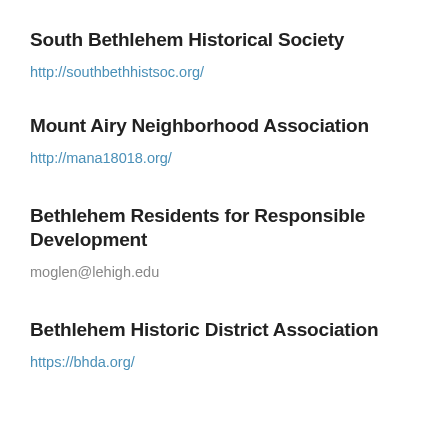South Bethlehem Historical Society
http://southbethhistsoc.org/
Mount Airy Neighborhood Association
http://mana18018.org/
Bethlehem Residents for Responsible Development
moglen@lehigh.edu
Bethlehem Historic District Association
https://bhda.org/